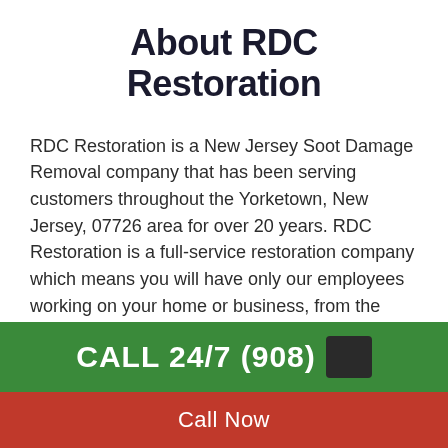About RDC Restoration
RDC Restoration is a New Jersey Soot Damage Removal company that has been serving customers throughout the Yorketown, New Jersey, 07726 area for over 20 years. RDC Restoration is a full-service restoration company which means you will have only our employees working on your home or business, from the beginning of the Soot Damage Removal restoration process until re-construction is complete.
CALL 24/7 (908)
Call Now